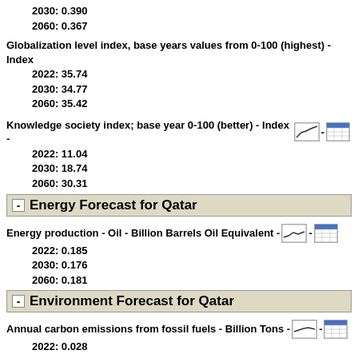2030: 0.390
2060: 0.367
Globalization level index, base years values from 0-100 (highest) - Index
2022: 35.74
2030: 34.77
2060: 35.42
Knowledge society index; base year 0-100 (better) - Index
2022: 11.04
2030: 18.74
2060: 30.31
Energy Forecast for Qatar
Energy production - Oil - Billion Barrels Oil Equivalent
2022: 0.185
2030: 0.176
2060: 0.181
Environment Forecast for Qatar
Annual carbon emissions from fossil fuels - Billion Tons
2022: 0.028
2030: 0.029
2060: 0.028
International Politics Forecast for Qatar
Diplomacy, Military, and Economic (DiME) Power Index - Index
2022: 0.366
2030: 0.368